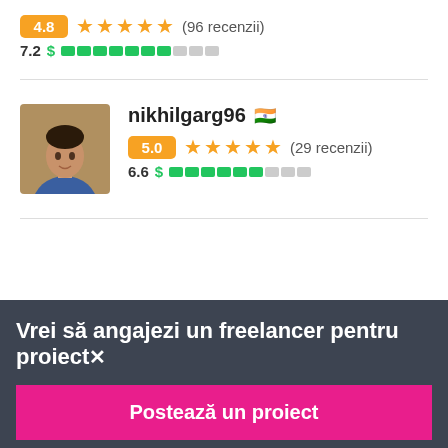4.8 ★★★★★ (96 recenzii)
7.2 $ ████████░░░
[Figure (photo): Profile photo of freelancer nikhilgarg96, a young man in a blue shirt]
nikhilgarg96 🇮🇳
5.0 ★★★★★ (29 recenzii)
6.6 $ ███████░░░
Vrei să angajezi un freelancer pentru proiect✗
Postează un proiect